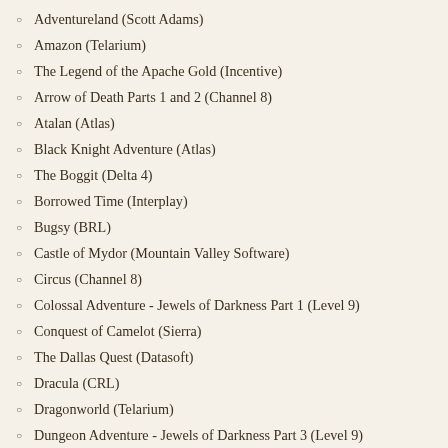Adventureland (Scott Adams)
Amazon (Telarium)
The Legend of the Apache Gold (Incentive)
Arrow of Death Parts 1 and 2 (Channel 8)
Atalan (Atlas)
Black Knight Adventure (Atlas)
The Boggit (Delta 4)
Borrowed Time (Interplay)
Bugsy (BRL)
Castle of Mydor (Mountain Valley Software)
Circus (Channel 8)
Colossal Adventure - Jewels of Darkness Part 1 (Level 9)
Conquest of Camelot (Sierra)
The Dallas Quest (Datasoft)
Dracula (CRL)
Dragonworld (Telarium)
Dungeon Adventure - Jewels of Darkness Part 3 (Level 9)
Emerald Isle (Level 9)
Empire of Karn (Interceptor S.)
Enchanter (Infocom)
Escape from Pulsar 7 (Channel 8)
Eureka! (DoMark)
Feasibility Experiment (Channel 8)
Fish! (Magnetic Scrolls)
Frankenstein (CRL)
The Golden Baton (Channel 8)